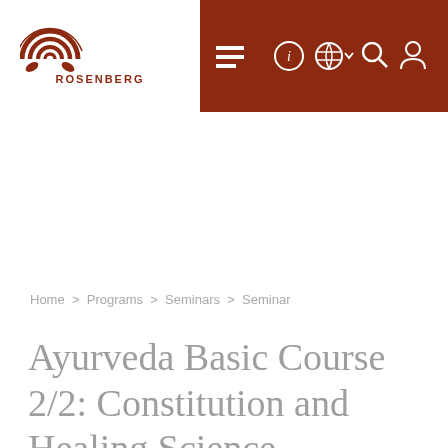Rosenberg — navigation header with logo, hamburger menu, info icon, globe icon, search icon, user icon
Home > Programs > Seminars > Seminar
Ayurveda Basic Course 2/2: Constitution and Healing Science